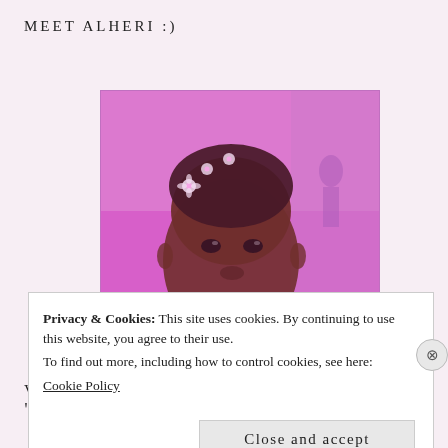MEET ALHERI :)
[Figure (photo): A young woman with small flowers in her hair, photographed with a pink/purple filter, smiling softly. She is shown from the shoulders up against an indoor background.]
VERSE OF THE DAY
Privacy & Cookies: This site uses cookies. By continuing to use this website, you agree to their use.
To find out more, including how to control cookies, see here:
Cookie Policy
Close and accept